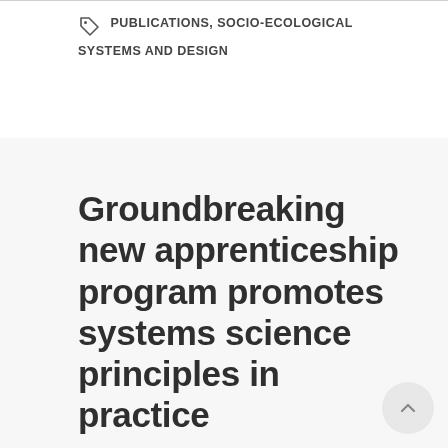PUBLICATIONS, SOCIO-ECOLOGICAL SYSTEMS AND DESIGN
Groundbreaking new apprenticeship program promotes systems science principles in practice
September 8, 2019
Building on a 2017 initiative by Ray Ison, BCSSS board member,